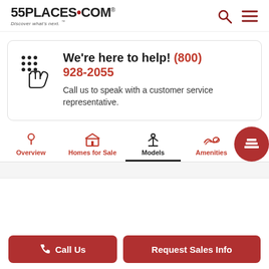55PLACES.COM Discover what's next. ™
We're here to help! (800) 928-2055
Call us to speak with a customer service representative.
Overview | Homes for Sale | Models | Amenities
Call Us | Request Sales Info